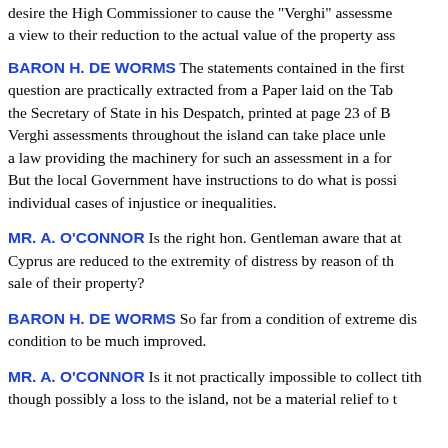desire the High Commissioner to cause the "Verghi" assessments to be revised with a view to their reduction to the actual value of the property assessed.
BARON H. DE WORMS The statements contained in the first part of the question are practically extracted from a Paper laid on the Table, and represent the Secretary of State in his Despatch, printed at page 23 of Blue Book. No general Verghi assessments throughout the island can take place unless the Legislature passes a law providing the machinery for such an assessment in a form satisfactory to them. But the local Government have instructions to do what is possible to relieve individual cases of injustice or inequalities.
MR. A. O'CONNOR Is the right hon. Gentleman aware that at this moment people in Cyprus are reduced to the extremity of distress by reason of the forced and compulsory sale of their property?
BARON H. DE WORMS So far from a condition of extreme distress, I believe the condition to be much improved.
MR. A. O'CONNOR Is it not practically impossible to collect tithe; and would it not, though possibly a loss to the island, not be a material relief to the people?